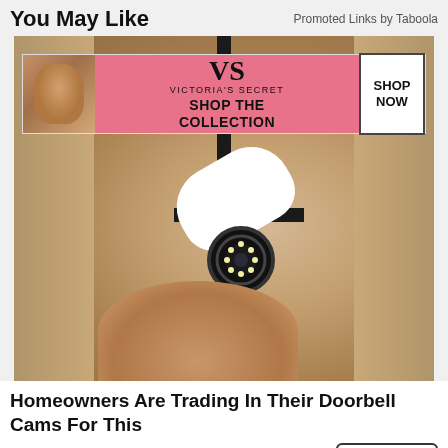You May Like
Promoted Links by Taboola
[Figure (photo): Security camera mounted on stone wall, with Victoria's Secret advertisement banner overlaid at the top showing a model, VS logo, 'SHOP THE COLLECTION' text and 'SHOP NOW' button]
Homeowners Are Trading In Their Doorbell Cams For This
Camerca
Learn More
[Figure (photo): Bottom advertisement area showing outdoor greenery background with CLOSE button and Ulta Beauty banner with makeup product images and SHOP NOW button]